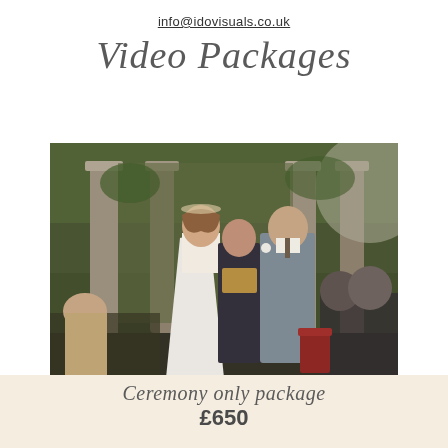info@idovisuals.co.uk
Video Packages
[Figure (photo): Outdoor wedding ceremony photo showing a bride in a white ballgown dress and groom in a grey suit facing each other at the altar, with a celebrant holding a book between them, set against stone columns and lush green foliage]
Ceremony only package
£650